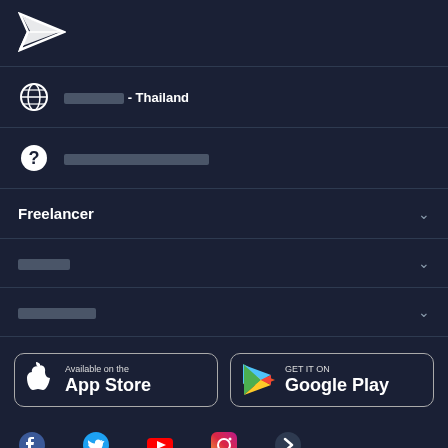[Figure (logo): Freelancer logo - stylized paper plane icon in white on dark background]
🌐 ████████ - Thailand
? ████████████████████
Freelancer (accordion, expanded)
██████ (accordion)
██████████ (accordion)
[Figure (screenshot): App Store and Google Play download buttons]
[Figure (screenshot): Social media icons row: Facebook, Twitter, YouTube, Instagram, and another]